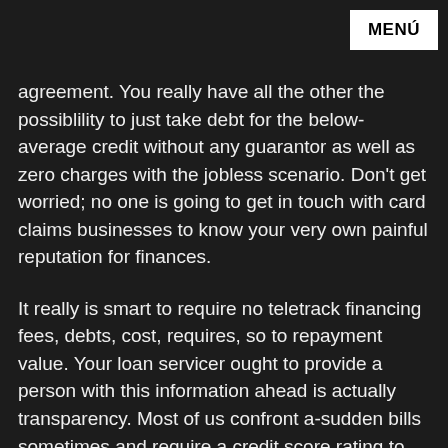MENÚ
agreement. You really have all the other the possiblility to just take debt for the below-average credit without any guarantor as well as zero charges with the jobless scenario. Don't get worried; no one is going to get in touch with card claims businesses to know your very own painful reputation for finances.
It really is smart to require no teletrack financing fees, debts, cost, requires, so to repayment value. Your loan servicer ought to provide a person with this information ahead is actually transparency. Most of us confront a-sudden bills sometimes and require a credit score rating to create address all of our terms. Unfortuitously, once you have a low credit score, the alternatives to acq financial support is generally limited.